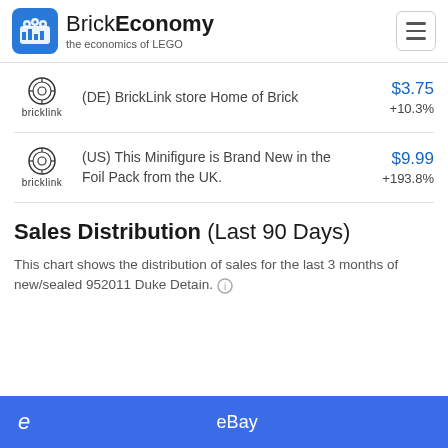BrickEconomy — the economics of LEGO
(DE) BrickLink store Home of Brick — $3.75 +10.3%
(US) This Minifigure is Brand New in the Foil Pack from the UK. — $9.99 +193.8%
Sales Distribution (Last 90 Days)
This chart shows the distribution of sales for the last 3 months of new/sealed 952011 Duke Detain.
eBay